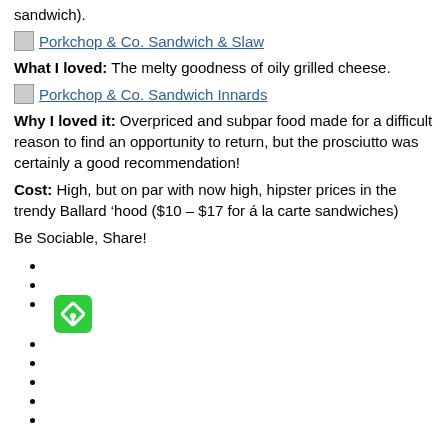sandwich).
Porkchop & Co. Sandwich & Slaw
What I loved: The melty goodness of oily grilled cheese.
Porkchop & Co. Sandwich Innards
Why I loved it: Overpriced and subpar food made for a difficult reason to find an opportunity to return, but the prosciutto was certainly a good recommendation!
Cost: High, but on par with now high, hipster prices in the trendy Ballard ‘hood ($10 – $17 for á la carte sandwiches)
Be Sociable, Share!
[Figure (other): Green pin/bookmark icon button]